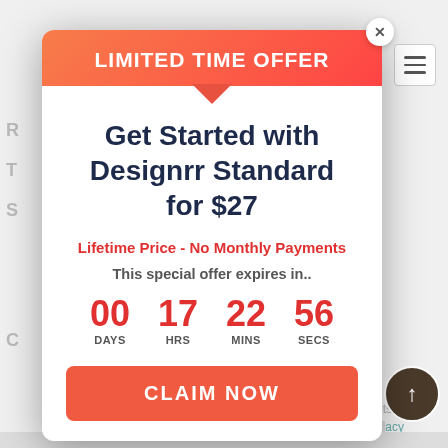[Figure (screenshot): Background webpage with navigation elements and partial text visible behind modal]
LIMITED TIME OFFER
Get Started with Designrr Standard for $27
Lifetime Price - No Monthly Payments
This special offer expires in..
00 DAYS  17 HRS  22 MINS  56 SECS
CLAIM NOW